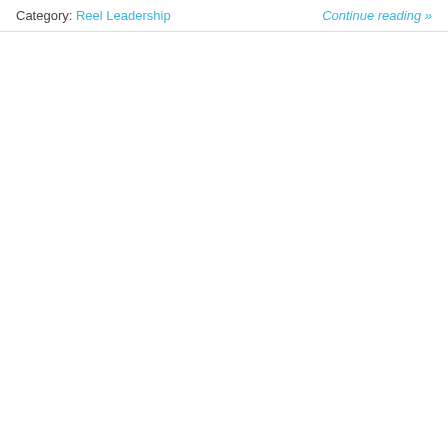Category: Reel Leadership    Continue reading »